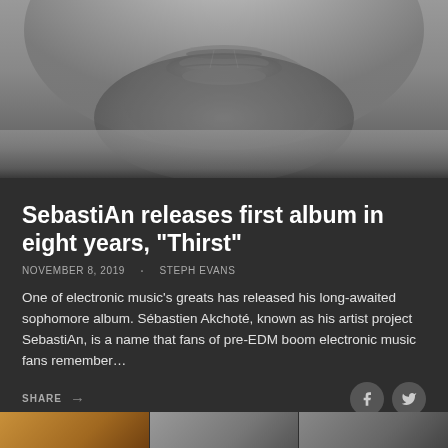[Figure (photo): Black and white close-up photo of a man's lower face showing lips, chin stubble/beard]
SebastiAn releases first album in eight years, "Thirst"
NOVEMBER 8, 2019 · STEPH EVANS
One of electronic music's greats has released his long-awaited sophomore album. Sébastien Akchoté, known as his artist project SebastiAn, is a name that fans of pre-EDM boom electronic music fans remember…
SHARE →
[Figure (photo): Thumbnail images at the bottom of the page, partially visible]